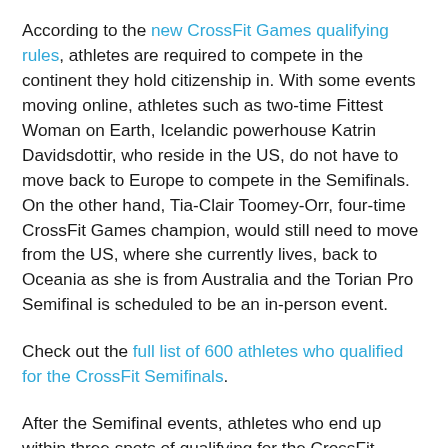According to the new CrossFit Games qualifying rules, athletes are required to compete in the continent they hold citizenship in. With some events moving online, athletes such as two-time Fittest Woman on Earth, Icelandic powerhouse Katrin Davidsdottir, who reside in the US, do not have to move back to Europe to compete in the Semifinals. On the other hand, Tia-Clair Toomey-Orr, four-time CrossFit Games champion, would still need to move from the US, where she currently lives, back to Oceania as she is from Australia and the Torian Pro Semifinal is scheduled to be an in-person event.
Check out the full list of 600 athletes who qualified for the CrossFit Semifinals.
After the Semifinal events, athletes who end up within three spots of qualifying for the CrossFit Games earn an invite to a new competition called Last-Chance Qualifier, which takes place in the week of June 28. The top two men and two